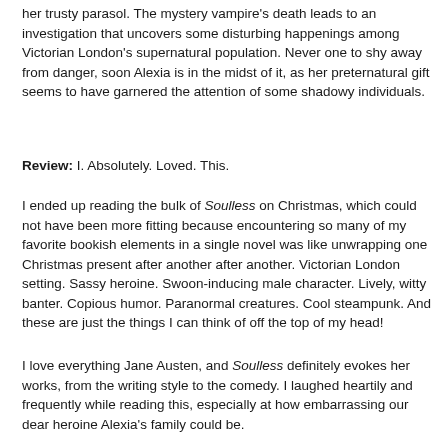her trusty parasol. The mystery vampire's death leads to an investigation that uncovers some disturbing happenings among Victorian London's supernatural population. Never one to shy away from danger, soon Alexia is in the midst of it, as her preternatural gift seems to have garnered the attention of some shadowy individuals.
Review: I. Absolutely. Loved. This.
I ended up reading the bulk of Soulless on Christmas, which could not have been more fitting because encountering so many of my favorite bookish elements in a single novel was like unwrapping one Christmas present after another after another. Victorian London setting. Sassy heroine. Swoon-inducing male character. Lively, witty banter. Copious humor. Paranormal creatures. Cool steampunk. And these are just the things I can think of off the top of my head!
I love everything Jane Austen, and Soulless definitely evokes her works, from the writing style to the comedy. I laughed heartily and frequently while reading this, especially at how embarrassing our dear heroine Alexia's family could be. Think Mrs. Bennet from Pride and Prejudice. Alexia...